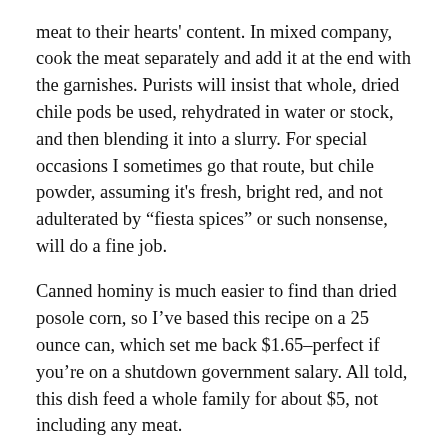meat to their hearts' content. In mixed company, cook the meat separately and add it at the end with the garnishes. Purists will insist that whole, dried chile pods be used, rehydrated in water or stock, and then blending it into a slurry. For special occasions I sometimes go that route, but chile powder, assuming it's fresh, bright red, and not adulterated by “fiesta spices” or such nonsense, will do a fine job.
Canned hominy is much easier to find than dried posole corn, so I’ve based this recipe on a 25 ounce can, which set me back $1.65–perfect if you’re on a shutdown government salary. All told, this dish feed a whole family for about $5, not including any meat.
3 tablespoons butter
2 tablespoons olive oil
1 large minced onion (about four cups),
2 cloves garlic, minced
4 tablespoons chile powder. If the stuff you have is too spicy, substitute paprika as necessary to dilute the heat-